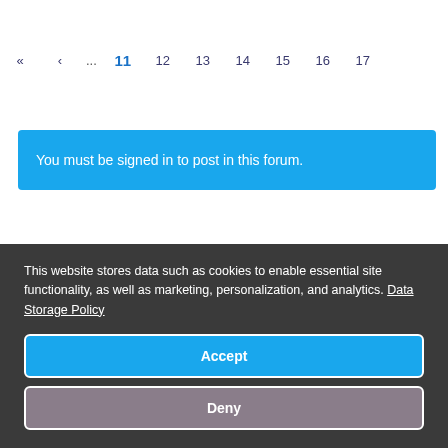« ‹ ... 11 12 13 14 15 16 17
You must be signed in to post in this forum.
This website stores data such as cookies to enable essential site functionality, as well as marketing, personalization, and analytics. Data Storage Policy
Accept
Deny